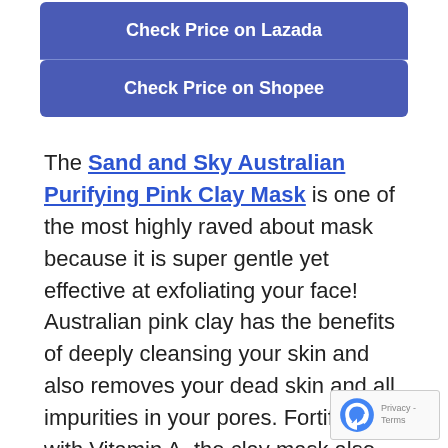Check Price on Lazada
Check Price on Shopee
The Sand and Sky Australian Purifying Pink Clay Mask is one of the most highly raved about mask because it is super gentle yet effective at exfoliating your face! Australian pink clay has the benefits of deeply cleansing your skin and also removes your dead skin and all impurities in your pores. Fortified with Vitamin A, the clay mask also replenishes nutrients back into your skin so that it doesn't dry out your skin excessively. For an instant brighter and smoother complexion, yo...